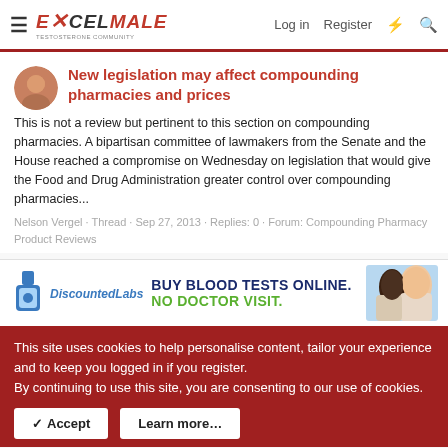EXCELMALE — Log in | Register
New legislation may affect compounding pharmacies and prices
This is not a review but pertinent to this section on compounding pharmacies. A bipartisan committee of lawmakers from the Senate and the House reached a compromise on Wednesday on legislation that would give the Food and Drug Administration greater control over compounding pharmacies...
Nelson Vergel · Thread · Sep 27, 2013 · Replies: 0 · Forum: Compounding Pharmacy Product Reviews
[Figure (photo): Advertisement banner for DiscountedLabs: BUY BLOOD TESTS ONLINE. NO DOCTOR VISIT. Shows flask icon, DiscountedLabs logo, and two people in background.]
This site uses cookies to help personalise content, tailor your experience and to keep you logged in if you register.
By continuing to use this site, you are consenting to our use of cookies.
✓ Accept    Learn more…